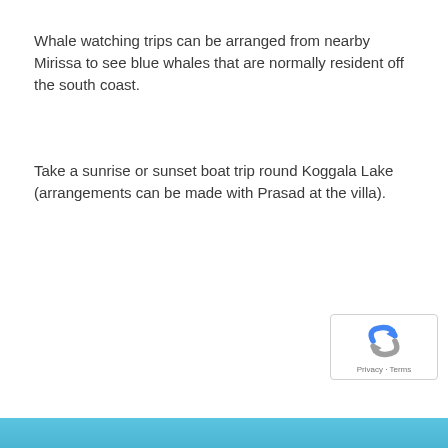Whale watching trips can be arranged from nearby Mirissa to see blue whales that are normally resident off the south coast.
Take a sunrise or sunset boat trip round Koggala Lake (arrangements can be made with Prasad at the villa).